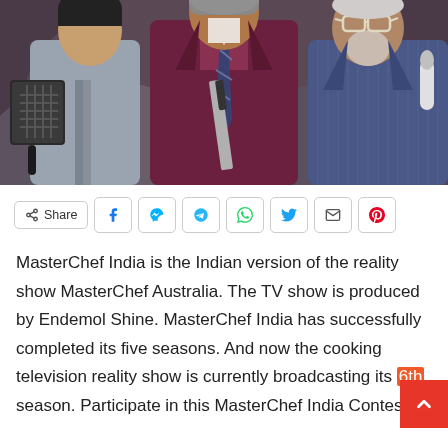[Figure (photo): Three men in suits posed for a MasterChef India promotional photo. The man on the left wears a light gray suit and holds a grill pan, the man in the center wears a dark maroon suit with a plaid tie and holds a large knife, and the man on the right wears a blue pinstripe suit and holds a microphone.]
Share (share button with social media icons: Facebook, Messenger, Telegram, WhatsApp, Twitter, Email, Pinterest)
MasterChef India is the Indian version of the reality show MasterChef Australia. The TV show is produced by Endemol Shine. MasterChef India has successfully completed its five seasons. And now the cooking television reality show is currently broadcasting its 6th season. Participate in this MasterChef India Contest,